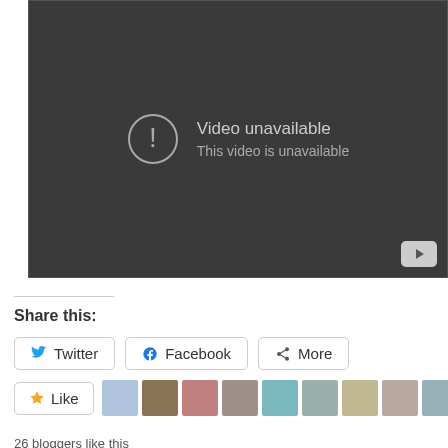[Figure (screenshot): YouTube video player showing 'Video unavailable' error message with exclamation icon and YouTube button in bottom-right corner]
Share this:
Twitter  Facebook  More
Like
26 bloggers like this